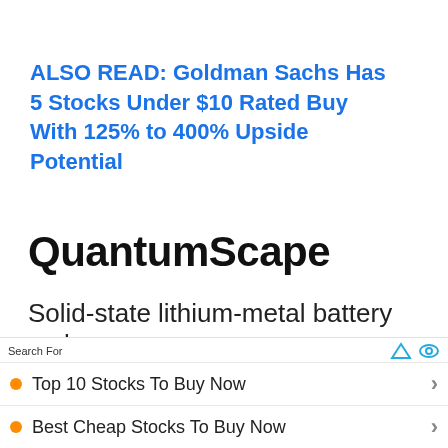ALSO READ: Goldman Sachs Has 5 Stocks Under $10 Rated Buy With 125% to 400% Upside Potential
[Figure (logo): QuantumScape logo in bold black text]
Solid-state lithium-metal battery maker
Search For
Top 10 Stocks To Buy Now
Best Cheap Stocks To Buy Now